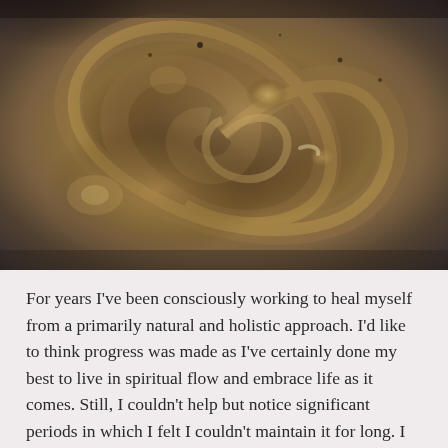[Figure (photo): Close-up swirling abstract photo resembling Jupiter's Great Red Spot or a stone/metal surface with brown, gold, grey, and dark tones in a spiral pattern.]
For years I've been consciously working to heal myself from a primarily natural and holistic approach. I'd like to think progress was made as I've certainly done my best to live in spiritual flow and embrace life as it comes. Still, I couldn't help but notice significant periods in which I felt I couldn't maintain it for long. I would backslide into major anxiety and/or depression, put tons of effort into regaining some healing and peace before life would undercut me once more. Intellectually, I understood there were tough experiences to be had in order to learn some